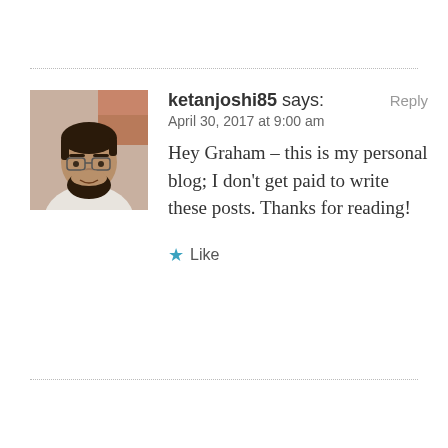[Figure (photo): Profile photo of a man with glasses and beard, wearing a light shirt, against a wall background.]
ketanjoshi85 says:
April 30, 2017 at 9:00 am
Hey Graham – this is my personal blog; I don't get paid to write these posts. Thanks for reading!
★ Like